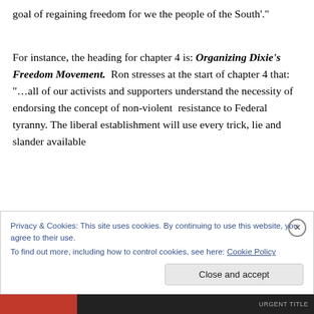goal of regaining freedom for we the people of the South'.
For instance, the heading for chapter 4 is: Organizing Dixie's Freedom Movement.  Ron stresses at the start of chapter 4 that: “…all of our activists and supporters understand the necessity of endorsing the concept of non-violent  resistance to Federal tyranny. The liberal establishment will use every trick, lie and slander available
Privacy & Cookies: This site uses cookies. By continuing to use this website, you agree to their use.
To find out more, including how to control cookies, see here: Cookie Policy
Close and accept